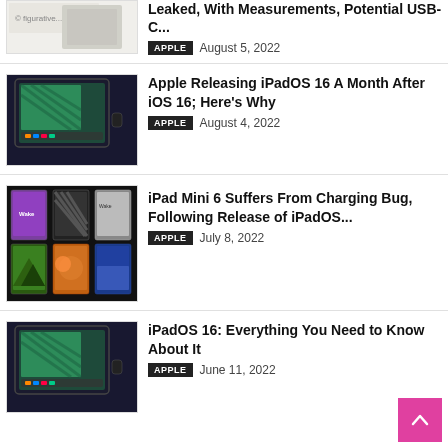[Figure (photo): Partial thumbnail of Apple device/document image]
Leaked, With Measurements, Potential USB-C...
APPLE   August 5, 2022
[Figure (photo): iPad showing iPadOS 16 home screen with colorful app icons]
Apple Releasing iPadOS 16 A Month After iOS 16; Here's Why
APPLE   August 4, 2022
[Figure (photo): Multiple iPad Mini 6 devices shown in various frames and colors]
iPad Mini 6 Suffers From Charging Bug, Following Release of iPadOS...
APPLE   July 8, 2022
[Figure (photo): iPad showing iPadOS 16 home screen with colorful app icons]
iPadOS 16: Everything You Need to Know About It
APPLE   June 11, 2022